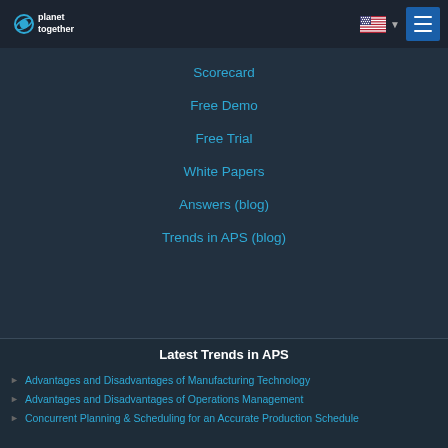[Figure (logo): PlanetTogether logo with planet icon and text 'planet together' in white/blue on dark background]
[Figure (other): US flag icon with chevron dropdown and hamburger menu button]
Scorecard
Free Demo
Free Trial
White Papers
Answers (blog)
Trends in APS (blog)
Latest Trends in APS
Advantages and Disadvantages of Manufacturing Technology
Advantages and Disadvantages of Operations Management
Concurrent Planning & Scheduling for an Accurate Production Schedule